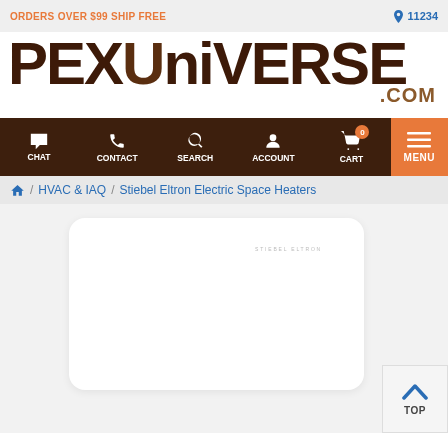ORDERS OVER $99 SHIP FREE   11234
[Figure (logo): PexUniverse.com logo in dark brown with stylized lettering]
[Figure (screenshot): Navigation bar with Chat, Contact, Search, Account, Cart (0), and Menu buttons on dark brown background]
Home / HVAC & IAQ / Stiebel Eltron Electric Space Heaters
[Figure (photo): White wall-mounted Stiebel Eltron electric space heater panel on white/light grey background]